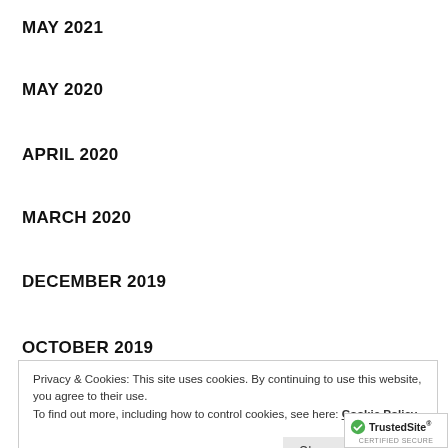MAY 2021
MAY 2020
APRIL 2020
MARCH 2020
DECEMBER 2019
OCTOBER 2019
Privacy & Cookies: This site uses cookies. By continuing to use this website, you agree to their use.
To find out more, including how to control cookies, see here: Cookie Policy
MAY 2019